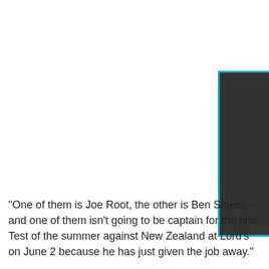[Figure (photo): Dark panel or sidebar element with cyan/blue border on the right side of the page, partially visible]
"One of them is Joe Root, the other is Ben Stokes - and one of them isn't going to be captain for the first Test of the summer against New Zealand at Lord's on June 2 because he has just given the job away."
Broad, who is yet to feature for Nottinghamshire in this year's